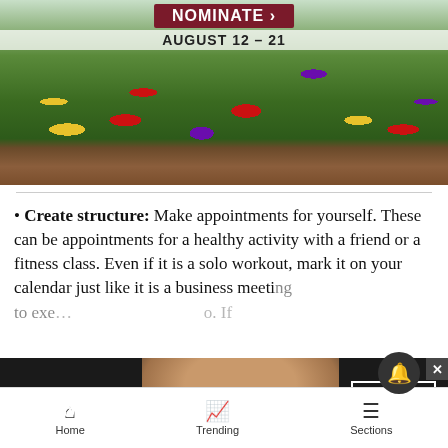[Figure (photo): Colorful flower garden photo with text overlay showing 'NOMINATE >' and 'AUGUST 12 – 21']
• Create structure: Make appointments for yourself. These can be appointments for a healthy activity with a friend or a fitness class. Even if it is a solo workout, mark it on your calendar just like it is a business meeting... to exe... o. If
[Figure (screenshot): Macy's advertisement banner: 'KISS BORING LIPS GOODBYE' with woman's face showing red lipstick, 'SHOP NOW' button and Macy's star logo]
Home  Trending  Sections